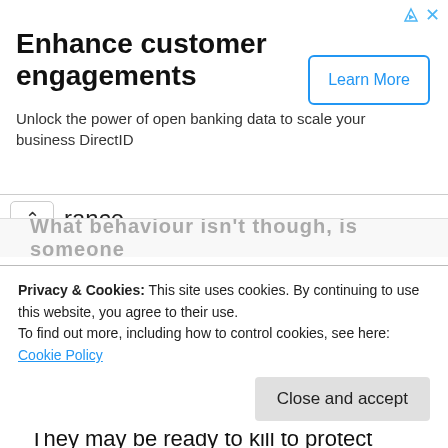[Figure (screenshot): Advertisement banner: 'Enhance customer engagements — Unlock the power of open banking data to scale your business DirectID' with a 'Learn More' button]
rance.
Quantum Assurance
Get Quote
What behaviour isn't though, is someone
Privacy & Cookies: This site uses cookies. By continuing to use this website, you agree to their use.
To find out more, including how to control cookies, see here:
Cookie Policy
Close and accept
They may be ready to kill to protect them and